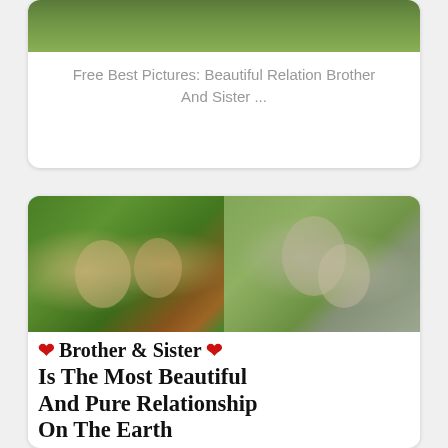[Figure (photo): Top card with green nature background image (partially visible at top) and caption text below]
Free Best Pictures: Beautiful Relation Brother And Sister ...
[Figure (photo): Two photos side by side: left shows two children (brother and sister) touching noses in a garden, right shows two children hugging on a tree-lined path. Below the photos is text: ❤ Brother & Sister ❤ Is The Most Beautiful And Pure Relationship On The Earth]
❤ Brother & Sister ❤ Is The Most Beautiful And Pure Relationship On The Earth